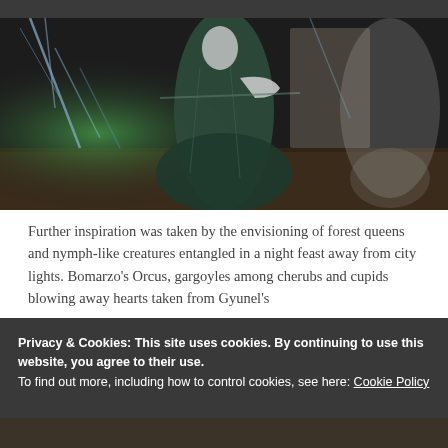[Figure (photo): A mannequin dressed in a dark green forest-themed gown displayed in a gallery setting with illuminated bare branches and greenery in the background]
Further inspiration was taken by the envisioning of forest queens and nymph-like creatures entangled in a night feast away from city lights. Bomarzo's Orcus, gargoyles among cherubs and cupids blowing away hearts taken from Gyunel's
Privacy & Cookies: This site uses cookies. By continuing to use this website, you agree to their use.
To find out more, including how to control cookies, see here: Cookie Policy
Close and accept
[Figure (photo): Partial view of another photo at the bottom of the page]